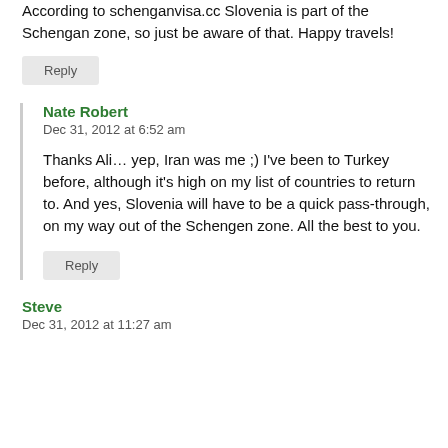According to schenganvisa.cc Slovenia is part of the Schengan zone, so just be aware of that. Happy travels!
Reply
Nate Robert
Dec 31, 2012 at 6:52 am
Thanks Ali… yep, Iran was me ;) I've been to Turkey before, although it's high on my list of countries to return to. And yes, Slovenia will have to be a quick pass-through, on my way out of the Schengen zone. All the best to you.
Reply
Steve
Dec 31, 2012 at 11:27 am